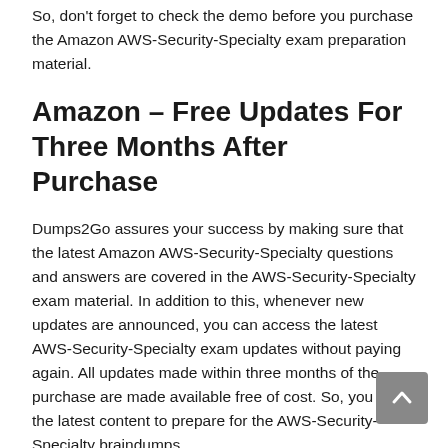So, don't forget to check the demo before you purchase the Amazon AWS-Security-Specialty exam preparation material.
Amazon – Free Updates For Three Months After Purchase
Dumps2Go assures your success by making sure that the latest Amazon AWS-Security-Specialty questions and answers are covered in the AWS-Security-Specialty exam material. In addition to this, whenever new updates are announced, you can access the latest AWS-Security-Specialty exam updates without paying again. All updates made within three months of the purchase are made available free of cost. So, you get the latest content to prepare for the AWS-Security-Specialty braindumps.